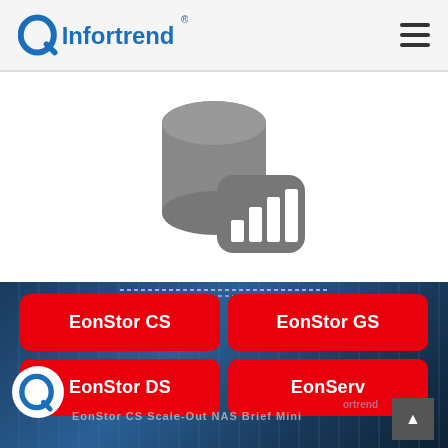Infortrend
[Figure (illustration): Gray storage server icon with database cylinder and bar chart overlay]
EonServ Family
Storage server with highly integrated single/dual processor
[Figure (screenshot): Bottom section showing data center photo background with four red navigation buttons: EonStor CS, EonStor GS, EonStor DS, EonServ. Infortrend logo circle visible bottom left.]